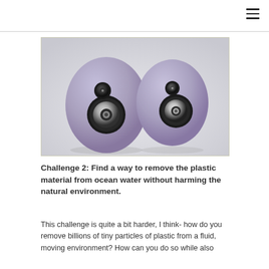[Figure (photo): Two egg-shaped purple/lavender speakers with black and silver speaker drivers embedded in them, photographed against a light gray background.]
Challenge 2: Find a way to remove the plastic material from ocean water without harming the natural environment.
This challenge is quite a bit harder, I think- how do you remove billions of tiny particles of plastic from a fluid, moving environment? How can you do so while also